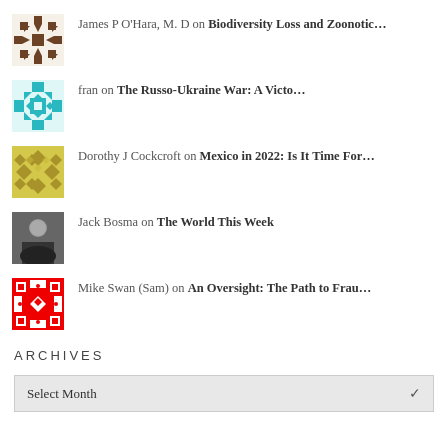James P O’Hara, M. D on Biodiversity Loss and Zoonotic…
fran on The Russo-Ukraine War: A Victo…
Dorothy J Cockcroft on Mexico in 2022: Is It Time For…
Jack Bosma on The World This Week
Mike Swan (Sam) on An Oversight: The Path to Frau…
ARCHIVES
Select Month